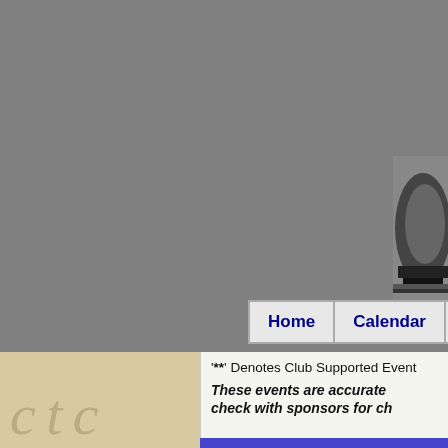[Figure (photo): Partial photo in top-right corner, appears to show a dark object on gray background]
Home | Calendar | Event Pi
'**' Denotes Club Supported Event
These events are accurate check with sponsors for ch
[Figure (logo): Partial logo/watermark with letters c t and other characters in tan/beige background]